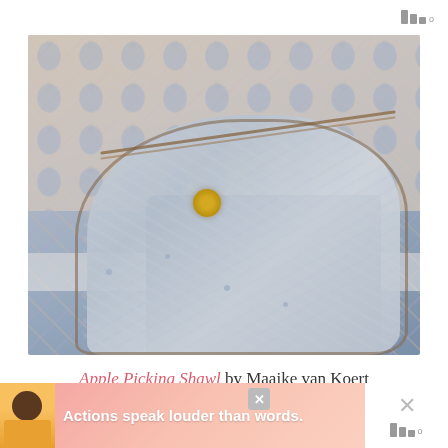|||°
[Figure (photo): A gray lacy crochet shawl with brown border trim and a yellow flower brooch, draped over a denim shirt on a hanger, against a blue and peach patterned wallpaper background.]
Apple Picking Shawl by Maaike van Koert
[Figure (screenshot): Advertisement banner reading 'Actions speak louder than words.' with an illustration of a person in a yellow shirt, with a close button and x mark, and a signal/bars icon in the bottom right corner.]